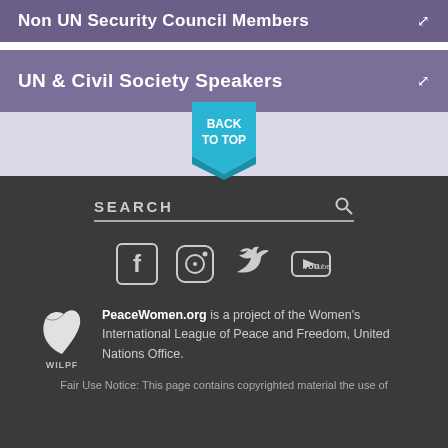Non UN Security Council Members
UN & Civil Society Speakers
[Figure (other): Back to top button - teal pentagon/bookmark shape with text BACK TO TOP]
SEARCH
[Figure (infographic): Social media icons: Facebook, Instagram, Twitter, YouTube]
[Figure (logo): WILPF dove logo]
PeaceWomen.org is a project of the Women's International League of Peace and Freedom, United Nations Office.
Fair Use Notice: This page contains copyrighted material the use of